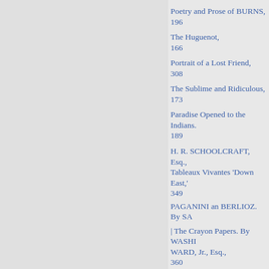Poetry and Prose of BURNS, 196
The Huguenot, 166
Portrait of a Lost Friend, 308
The Sublime and Ridiculous, 173
Paradise Opened to the Indians. 189
H. R. SCHOOLCRAFT, Esq., Tableaux Vivantes 'Down East,' 349
PAGANINI an BERLIOZ. By SA
| The Crayon Papers. By WASHI WARD, Jr., Esq., 360
TON Inving, Esq., 206, 317, 404